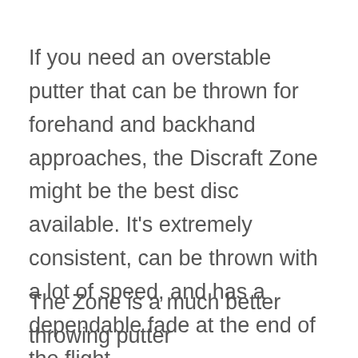If you need an overstable putter that can be thrown for forehand and backhand approaches, the Discraft Zone might be the best disc available. It's extremely consistent, can be thrown with a lot of speed, and has a dependable fade at the end of the flight.
The Zone is a much better throwing putter